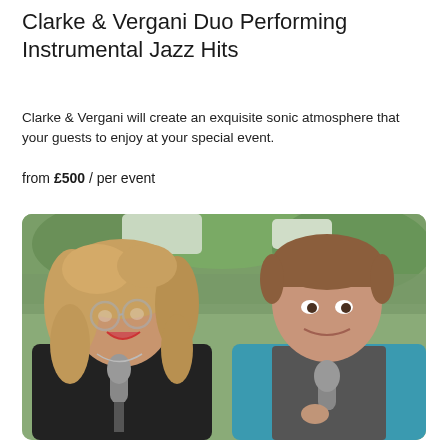Clarke & Vergani Duo Performing Instrumental Jazz Hits
Clarke & Vergani will create an exquisite sonic atmosphere that your guests to enjoy at your special event.
from £500 / per event
[Figure (photo): Photo of two performers (Clarke & Vergani) smiling outdoors, each holding a microphone. A woman with curly blonde hair and round glasses is on the left wearing a black top; a man with short brown hair is on the right wearing a teal/blue shirt. Green trees visible in background.]